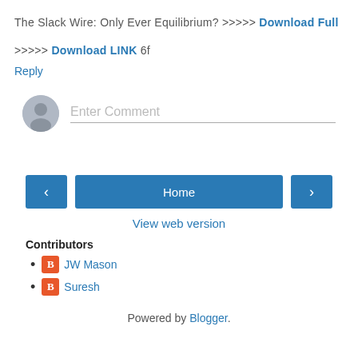The Slack Wire: Only Ever Equilibrium? >>>>> Download Full
>>>>> Download LINK 6f
Reply
[Figure (other): Comment input field with avatar icon and placeholder text 'Enter Comment']
[Figure (other): Navigation bar with left arrow button, Home button, and right arrow button]
View web version
Contributors
JW Mason
Suresh
Powered by Blogger.